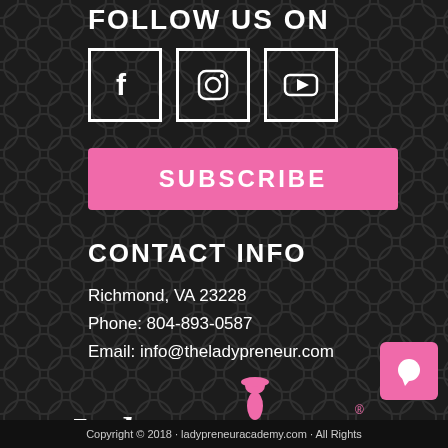FOLLOW US ON
[Figure (illustration): Three social media icons in white bordered boxes: Facebook (f), Instagram (camera), YouTube (play button)]
SUBSCRIBE
CONTACT INFO
Richmond, VA 23228
Phone: 804-893-0587
Email: info@theladypreneur.com
[Figure (logo): Ladypreneur logo in pink and white script lettering with a female figure in a pink hat]
Copyright © 2018 · ladypreneur academy.com · All Rights